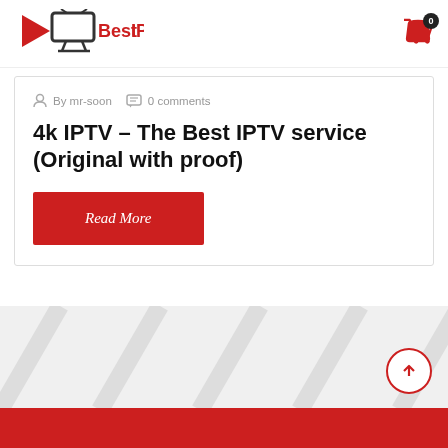[Figure (logo): BestIPTV logo with red play button icon and TV icon, bold red and black text]
By mr-soon   0 comments
4k IPTV – The Best IPTV service (Original with proof)
Read More